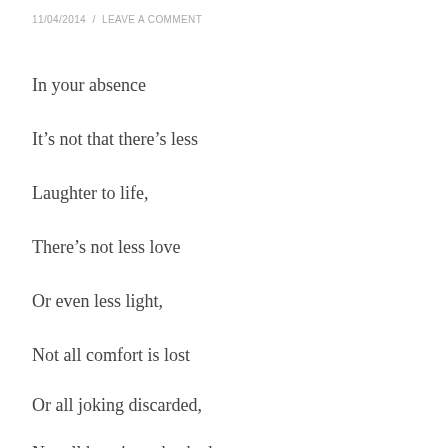11/04/2014  /  LEAVE A COMMENT
In your absence
It’s not that there’s less
Laughter to life,
There’s not less love
Or even less light,
Not all comfort is lost
Or all joking discarded,
Not all happiness hushed